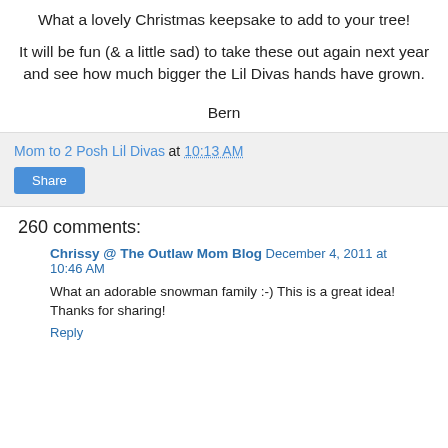What a lovely Christmas keepsake to add to your tree!
It will be fun (& a little sad) to take these out again next year and see how much bigger the Lil Divas hands have grown.
Bern
Mom to 2 Posh Lil Divas at 10:13 AM
Share
260 comments:
Chrissy @ The Outlaw Mom Blog December 4, 2011 at 10:46 AM
What an adorable snowman family :-) This is a great idea! Thanks for sharing!
Reply